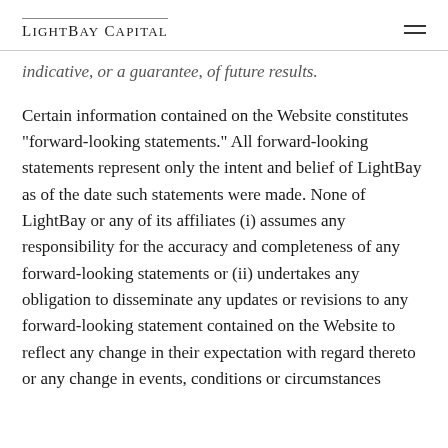LightBay Capital
indicative, or a guarantee, of future results.
Certain information contained on the Website constitutes “forward-looking statements.” All forward-looking statements represent only the intent and belief of LightBay as of the date such statements were made. None of LightBay or any of its affiliates (i) assumes any responsibility for the accuracy and completeness of any forward-looking statements or (ii) undertakes any obligation to disseminate any updates or revisions to any forward-looking statement contained on the Website to reflect any change in their expectation with regard thereto or any change in events, conditions or circumstances